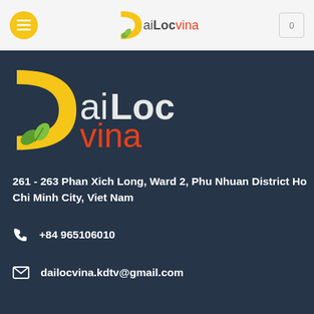[Figure (logo): DaiLoc Vina logo in header navigation bar with hamburger menu button and cart icon]
[Figure (logo): Large DaiLoc Vina logo on dark blue background with yellow D shape and green leaf]
261 - 263 Phan Xich Long, Ward 2, Phu Nhuan District Ho Chi Minh City, Viet Nam
+84 965106010
dailocvina.kdtv@gmail.com